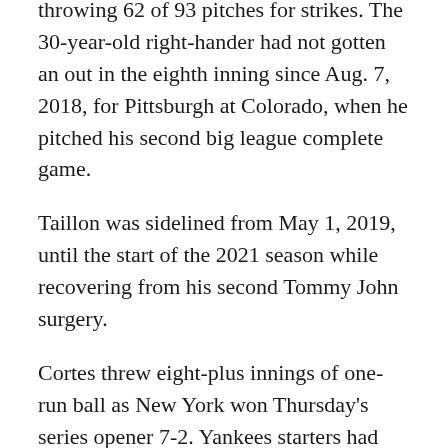throwing 62 of 93 pitches for strikes. The 30-year-old right-hander had not gotten an out in the eighth inning since Aug. 7, 2018, for Pittsburgh at Colorado, when he pitched his second big league complete game.
Taillon was sidelined from May 1, 2019, until the start of the 2021 season while recovering from his second Tommy John surgery.
Cortes threw eight-plus innings of one-run ball as New York won Thursday's series opener 7-2. Yankees starters had not pitched eight innings in consecutive games since CC Sabathia and Iván Nova against Kansas City on July 9 and 10, 2013.
Taillon retired his first 12 batters before Randy Arozarena's leadoff single in the fifth. Manuel Margot stretched his hitting streak to 13 games with a sixth-